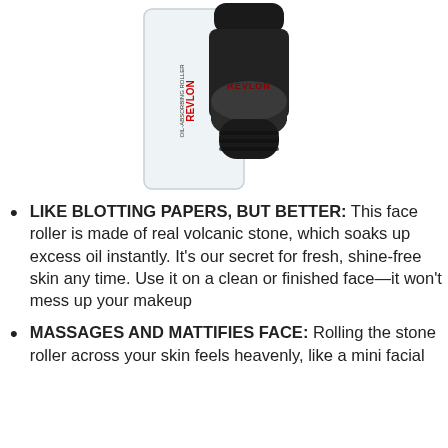[Figure (photo): Revlon Oil-Absorbing Volcanic Face Roller product photo showing the black roller tool next to its clear packaging with REVLON branding in red and black text]
LIKE BLOTTING PAPERS, BUT BETTER: This face roller is made of real volcanic stone, which soaks up excess oil instantly. It’s our secret for fresh, shine-free skin any time. Use it on a clean or finished face—it won’t mess up your makeup
MASSAGES AND MATTIFIES FACE: Rolling the stone roller across your skin feels heavenly, like a mini facial